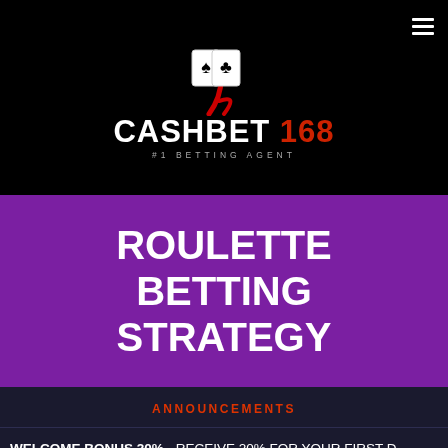[Figure (logo): CashBet 168 logo with playing card icons and red swoosh, #1 Betting Agent tagline, on black background]
ROULETTE BETTING STRATEGY
ANNOUNCEMENTS
WELCOME BONUS 20% - RECEIVE 20% FOR YOUR FIRST D